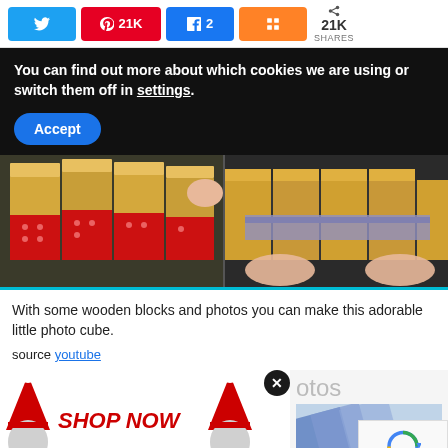[Figure (screenshot): Social media share bar with Twitter, Pinterest (21K), Facebook (2), Mix buttons and 21K SHARES count]
You can find out more about which cookies we are using or switch them off in settings.
Accept
[Figure (photo): Two side-by-side photos of wooden blocks with decorative paper/photos wrapped around them being assembled into a photo cube]
With some wooden blocks and photos you can make this adorable little photo cube.
source youtube
[Figure (advertisement): Shop Now advertisement with gnome characters and decorative shopping imagery, with a close button (x) overlay and partial 'otos' text and a preview image of blue diagonal shapes]